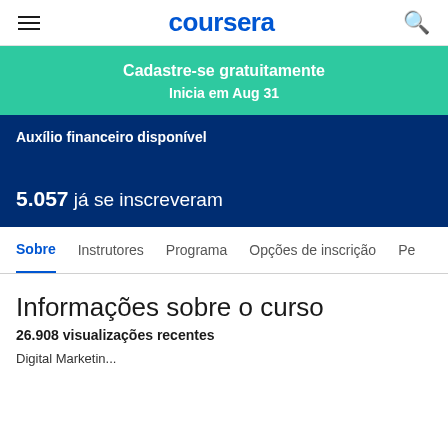coursera
Cadastre-se gratuitamente
Inicia em Aug 31
Auxílio financeiro disponível
5.057 já se inscreveram
Sobre  Instrutores  Programa  Opções de inscrição  Pe
Informações sobre o curso
26.908 visualizações recentes